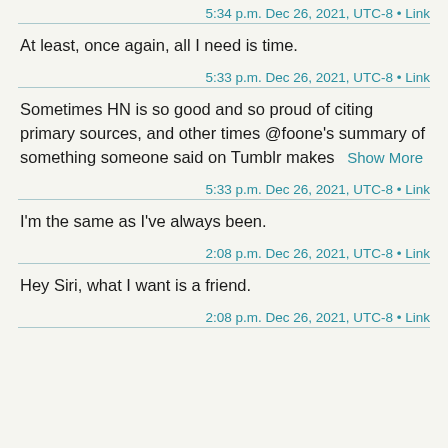5:34 p.m. Dec 26, 2021, UTC-8 • Link
At least, once again, all I need is time.
5:33 p.m. Dec 26, 2021, UTC-8 • Link
Sometimes HN is so good and so proud of citing primary sources, and other times @foone's summary of something someone said on Tumblr makes   Show More
5:33 p.m. Dec 26, 2021, UTC-8 • Link
I'm the same as I've always been.
2:08 p.m. Dec 26, 2021, UTC-8 • Link
Hey Siri, what I want is a friend.
2:08 p.m. Dec 26, 2021, UTC-8 • Link